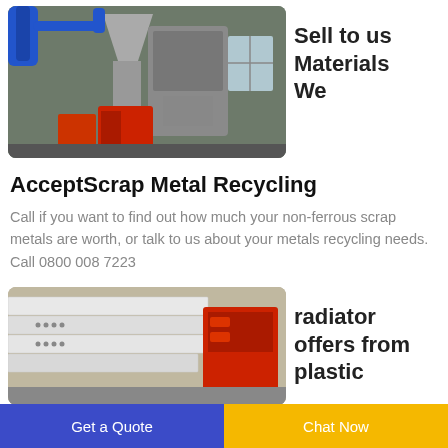[Figure (photo): Industrial recycling machinery with blue pipes and gray equipment in a factory setting]
Sell to us Materials We
AcceptScrap Metal Recycling
Call if you want to find out how much your non-ferrous scrap metals are worth, or talk to us about your metals recycling needs. Call 0800 008 7223
[Figure (photo): Industrial radiator or heating equipment stacked in a warehouse]
radiator offers from plastic
Get a Quote  Chat Now